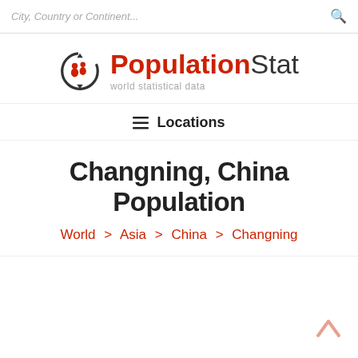City, Country or Continent...
[Figure (logo): PopulationStat logo with circular icon showing people silhouettes and arrows, red and dark gray color scheme. Tagline: world statistical data]
Locations
Changning, China Population
World > Asia > China > Changning